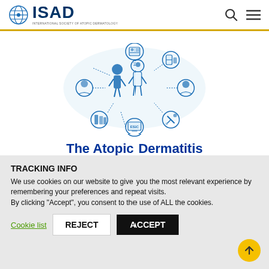ISAD - International Society of Atopic Dermatology
[Figure (infographic): Circular infographic showing the atopic dermatitis patient journey with icons representing patient, doctor, medications, education, support, and other care elements connected in a ring]
The Atopic Dermatitis Patient Journey
TRACKING INFO
We use cookies on our website to give you the most relevant experience by remembering your preferences and repeat visits.
By clicking "Accept", you consent to the use of ALL the cookies.
Cookie list   REJECT   ACCEPT